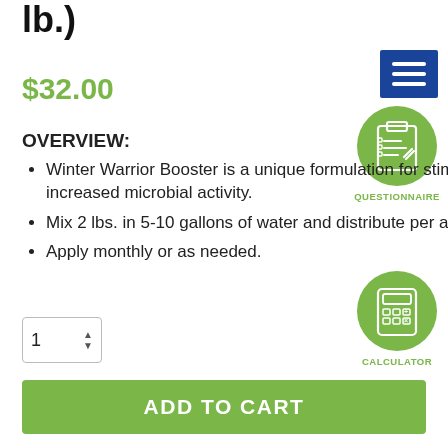lb.)
$32.00
OVERVIEW:
Winter Warrior Booster is a unique formulation for stimulating cold water microbes in Winter Warrior and in situ increased microbial activity.
Mix 2 lbs. in 5-10 gallons of water and distribute per acre.
Apply monthly or as needed.
[Figure (illustration): Blue hamburger/navigation menu button with three white horizontal lines]
[Figure (illustration): Green circle icon with a questionnaire/checklist graphic, labeled QUESTIONNAIRE]
[Figure (illustration): Green circle icon with a calculator graphic, labeled CALCULATOR]
1
ADD TO CART